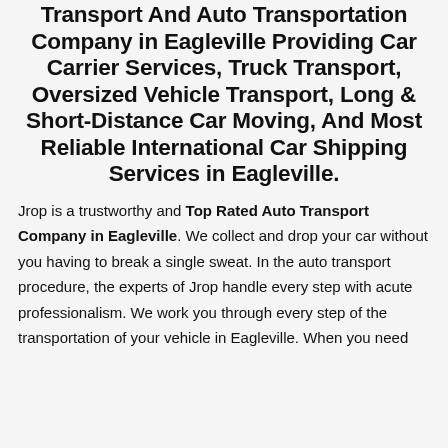Transport And Auto Transportation Company in Eagleville Providing Car Carrier Services, Truck Transport, Oversized Vehicle Transport, Long & Short-Distance Car Moving, And Most Reliable International Car Shipping Services in Eagleville.
Jrop is a trustworthy and Top Rated Auto Transport Company in Eagleville. We collect and drop your car without you having to break a single sweat. In the auto transport procedure, the experts of Jrop handle every step with acute professionalism. We work you through every step of the transportation of your vehicle in Eagleville. When you need